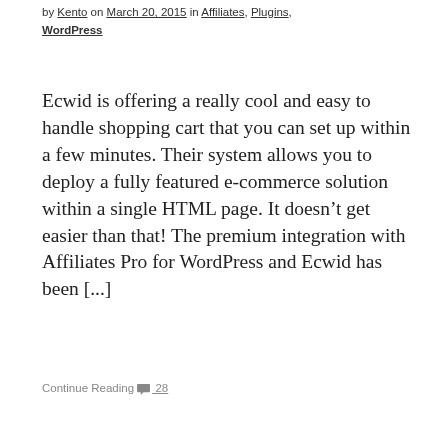by Kento on March 20, 2015 in Affiliates, Plugins, WordPress
Ecwid is offering a really cool and easy to handle shopping cart that you can set up within a few minutes. Their system allows you to deploy a fully featured e-commerce solution within a single HTML page. It doesn’t get easier than that! The premium integration with Affiliates Pro for WordPress and Ecwid has been [...]
Continue Reading 28